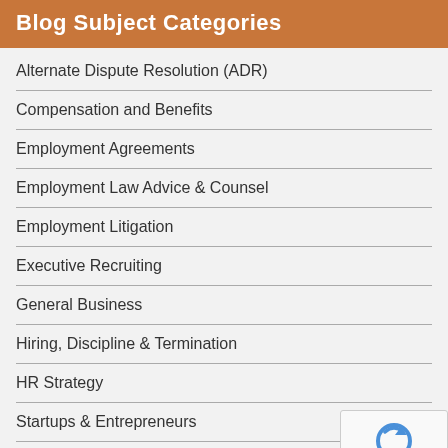Blog Subject Categories
Alternate Dispute Resolution (ADR)
Compensation and Benefits
Employment Agreements
Employment Law Advice & Counsel
Employment Litigation
Executive Recruiting
General Business
Hiring, Discipline & Termination
HR Strategy
Startups & Entrepreneurs
Uncategorized